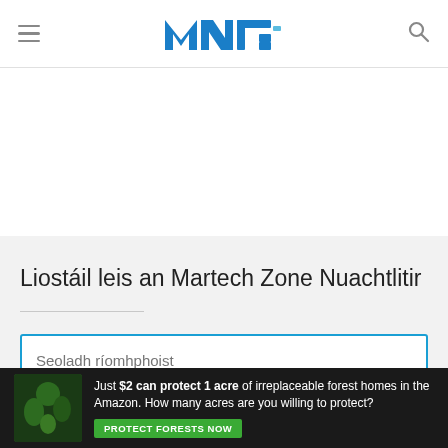MNT logo, hamburger menu, search icon
[Figure (other): White advertisement banner area between navbar and gray newsletter section]
Liostáil leis an Martech Zone Nuachtlitir
Seoladh ríomhphoist
Liostáil
[Figure (other): Bottom advertisement banner: 'Just $2 can protect 1 acre of irreplaceable forest homes in the Amazon. How many acres are you willing to protect?' with a green PROTECT FORESTS NOW button]